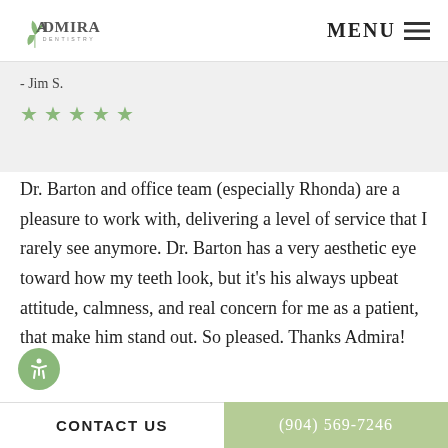ADMIRA DENTISTRY  MENU
- Jim S.
[Figure (other): Five green star rating icons]
Dr. Barton and office team (especially Rhonda) are a pleasure to work with, delivering a level of service that I rarely see anymore. Dr. Barton has a very aesthetic eye toward how my teeth look, but it's his always upbeat attitude, calmness, and real concern for me as a patient, that make him stand out. So pleased. Thanks Admira!
CONTACT US   (904) 569-7246